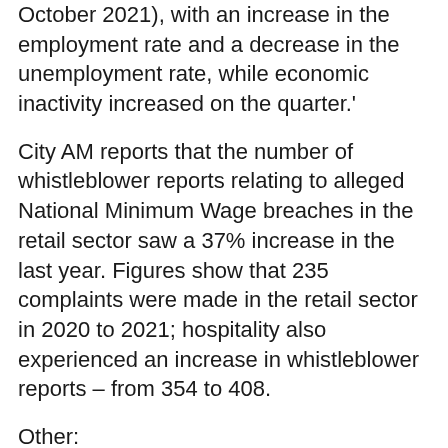October 2021), with an increase in the employment rate and a decrease in the unemployment rate, while economic inactivity increased on the quarter.'
City AM reports that the number of whistleblower reports relating to alleged National Minimum Wage breaches in the retail sector saw a 37% increase in the last year. Figures show that 235 complaints were made in the retail sector in 2020 to 2021; hospitality also experienced an increase in whistleblower reports – from 354 to 408.
Other:
The MA reports that some energy companies are refusing to supply pubs with power, claiming hospitality businesses are too 'risky' for safe contracts.
The Great Manchester night-time economy adviser Sacha Lord claims the cost of living